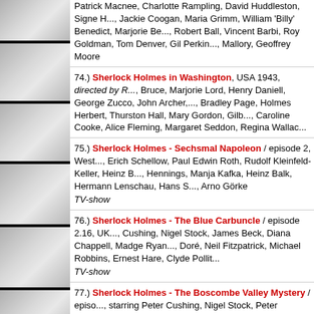Patrick Macnee, Charlotte Rampling, David Huddleston, Signe H..., Jackie Coogan, Maria Grimm, William 'Billy' Benedict, Marjorie Be..., Robert Ball, Vincent Barbi, Roy Goldman, Tom Denver, Gil Perkin..., Mallory, Geoffrey Moore
74.) Sherlock Holmes in Washington, USA 1943, directed by R..., Bruce, Marjorie Lord, Henry Daniell, George Zucco, John Archer,..., Bradley Page, Holmes Herbert, Thurston Hall, Mary Gordon, Gilb..., Caroline Cooke, Alice Fleming, Margaret Seddon, Regina Wallac...
75.) Sherlock Holmes - Sechsmal Napoleon / episode 2, West..., Erich Schellow, Paul Edwin Roth, Rudolf Kleinfeld-Keller, Heinz B..., Hennings, Manja Kafka, Heinz Balk, Hermann Lenschau, Hans S..., Arno Görke
TV-show
76.) Sherlock Holmes - The Blue Carbuncle / episode 2.16, UK..., Cushing, Nigel Stock, James Beck, Diana Chappell, Madge Ryan..., Doré, Neil Fitzpatrick, Michael Robbins, Ernest Hare, Clyde Pollit...
TV-show
77.) Sherlock Holmes - The Boscombe Valley Mystery / episo..., starring Peter Cushing, Nigel Stock, Peter Madden, John Tate, Ni..., Ellis, Michael Godfrey
TV-show
78.) Sherlock Holmes - The Case of the Baker Street Bachelo..., Previn, starring Ronald Howard, Howard Marion Crawford, Archie..., Duncan Elliott, Seymour Green
TV-show
79.) Sherlock Holmes - The Case of the Baker Street Nursem..., Sheldon Reynolds, starring Ronald Howard, Howard Marion Cra...